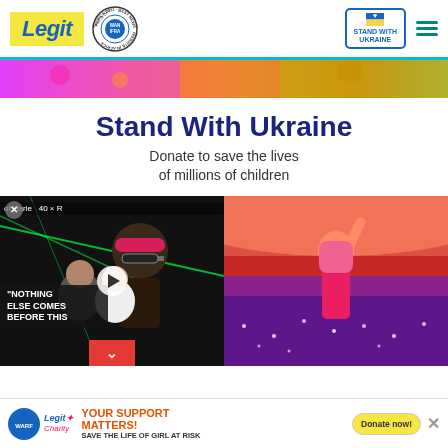Legit | WAN IFRA Best News Website in Africa 2021 | Stand With Ukraine
[Figure (photo): Colorful crowd photo strip at top of page]
Stand With Ukraine
Donate to save the lives of millions of children
[Figure (photo): Left: Man in pink hat and sunglasses at nightclub with green laser lights; video overlay with text 'NOTHING ELSE COMES BEFORE THIS' and play button. Right: Concert performer on stage with large crowd and pink/purple lighting.]
YOUR SUPPORT MATTERS! SAVE THE LIFE OF GIRL AT RISK